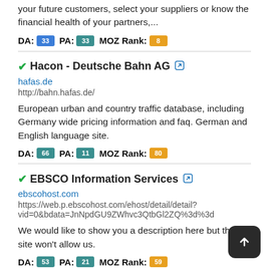your future customers, select your suppliers or know the financial health of your partners,...
DA: 33 PA: 33 MOZ Rank: 8
✔Hacon - Deutsche Bahn AG 🔗
hafas.de
http://bahn.hafas.de/
European urban and country traffic database, including Germany wide pricing information and faq. German and English language site.
DA: 66 PA: 11 MOZ Rank: 80
✔EBSCO Information Services 🔗
ebscohost.com
https://web.p.ebscohost.com/ehost/detail/detail?vid=0&bdata=JnNpdGU9ZWhvc3QtbGl2ZQ%3d%3d
We would like to show you a description here but the site won't allow us.
DA: 53 PA: 21 MOZ Rank: 59